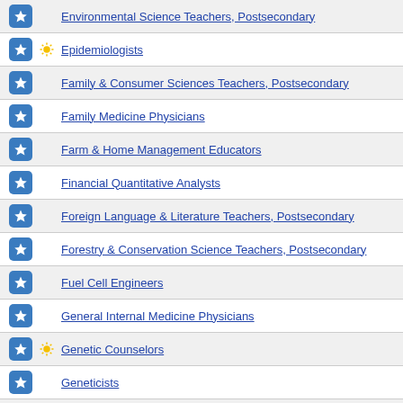Environmental Science Teachers, Postsecondary
Epidemiologists
Family & Consumer Sciences Teachers, Postsecondary
Family Medicine Physicians
Farm & Home Management Educators
Financial Quantitative Analysts
Foreign Language & Literature Teachers, Postsecondary
Forestry & Conservation Science Teachers, Postsecondary
Fuel Cell Engineers
General Internal Medicine Physicians
Genetic Counselors
Geneticists
Geographers
Geography Teachers, Postsecondary